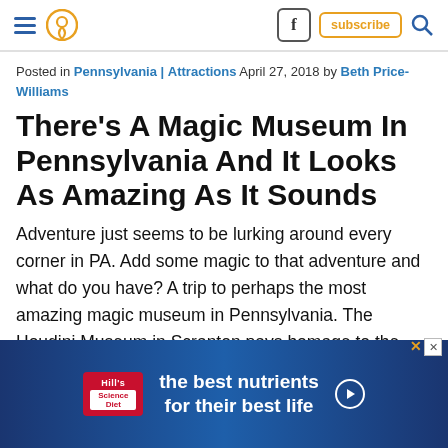Navigation bar with hamburger menu, location pin icon, Facebook icon, subscribe button, and search icon
Posted in Pennsylvania | Attractions April 27, 2018 by Beth Price-Williams
There's A Magic Museum In Pennsylvania And It Looks As Amazing As It Sounds
Adventure just seems to be lurking around every corner in PA. Add some magic to that adventure and what do you have? A trip to perhaps the most amazing magic museum in Pennsylvania. The Houdini Museum in Scranton pays homage to the world-renowned magician and illusionist. And, it promises a fun experience for guests of all ages.
[Figure (other): Hill's Pet Nutrition advertisement banner: blue gradient background with Hill's logo and text 'the best nutrients for their best life' with a play button]